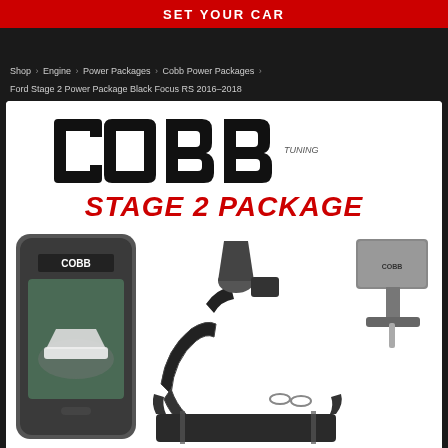SET YOUR CAR
Shop > Engine > Power Packages > Cobb Power Packages > Ford Stage 2 Power Package Black Focus RS 2016-2018
[Figure (photo): COBB Stage 2 Package product image showing the COBB logo in black block letters, 'STAGE 2 PACKAGE' in red italic text, and product photos including an Accessport device showing a Ford Focus RS on screen, black intake piping kit with filter and couplers, a boost control solenoid bracket assembly, and a front mount intercooler with charge pipes on white background.]